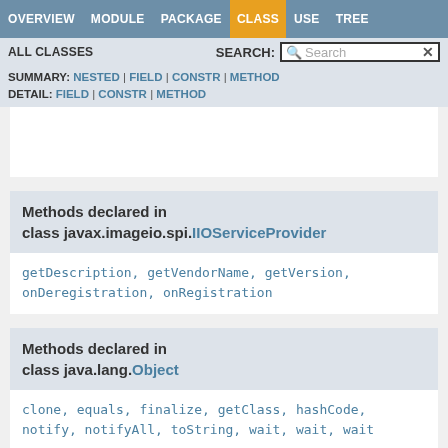OVERVIEW  MODULE  PACKAGE  CLASS  USE  TREE
ALL CLASSES  SEARCH:
SUMMARY: NESTED | FIELD | CONSTR | METHOD
DETAIL: FIELD | CONSTR | METHOD
Methods declared in class javax.imageio.spi.IIOServiceProvider
getDescription, getVendorName, getVersion, onDeregistration, onRegistration
Methods declared in class java.lang.Object
clone, equals, finalize, getClass, hashCode, notify, notifyAll, toString, wait, wait, wait